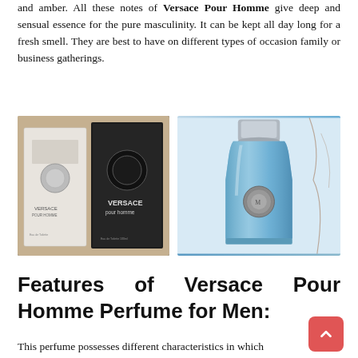and amber. All these notes of Versace Pour Homme give deep and sensual essence for the pure masculinity. It can be kept all day long for a fresh smell. They are best to have on different types of occasion family or business gatherings.
[Figure (photo): Two Versace Pour Homme perfume boxes side by side — a white/silver box on the left and a dark black box on the right with the Versace Medusa logo]
[Figure (photo): Versace Pour Homme blue glass perfume bottle with silver cap and Medusa medallion, against a light background with decorative branches]
Features of Versace Pour Homme Perfume for Men:
This perfume possesses different characteristics in which